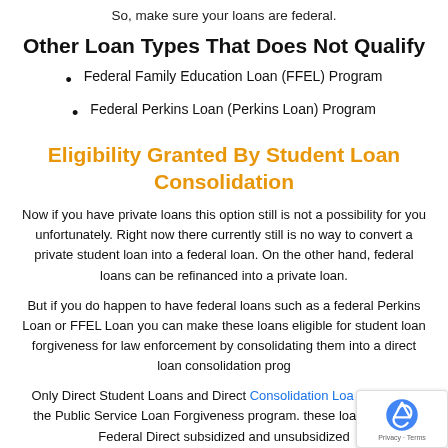So, make sure your loans are federal.
Other Loan Types That Does Not Qualify
Federal Family Education Loan (FFEL) Program
Federal Perkins Loan (Perkins Loan) Program
Eligibility Granted By Student Loan Consolidation
Now if you have private loans this option still is not a possibility for you unfortunately. Right now there currently still is no way to convert a private student loan into a federal loan. On the other hand, federal loans can be refinanced into a private loan.
But if you do happen to have federal loans such as a federal Perkins Loan or FFEL Loan you can make these loans eligible for student loan forgiveness for law enforcement by consolidating them into a direct loan consolidation prog
Only Direct Student Loans and Direct Consolidation Loa eligible for the Public Service Loan Forgiveness program. these loans include Federal Direct subsidized and unsubsidized